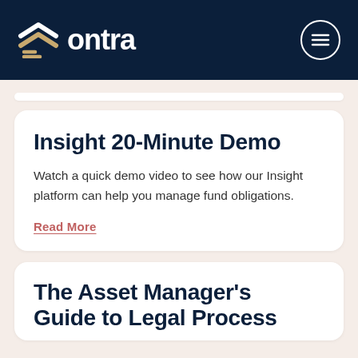ontra
Insight 20-Minute Demo
Watch a quick demo video to see how our Insight platform can help you manage fund obligations.
Read More
The Asset Manager's Guide to Legal Process